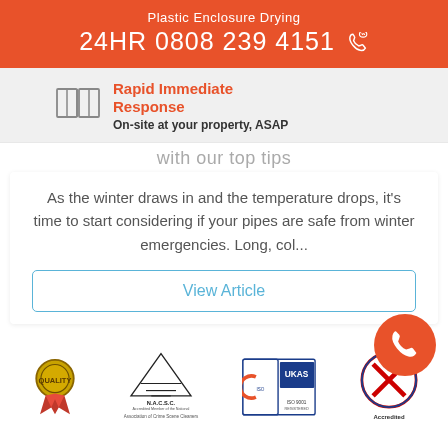Plastic Enclosure Drying
24HR 0808 239 4151
Rapid Immediate Response
On-site at your property, ASAP
with our top tips
As the winter draws in and the temperature drops, it's time to start considering if your pipes are safe from winter emergencies. Long, col...
View Article
[Figure (logo): Four accreditation logos: award ribbon badge, N.A.C.S.C. (National Association of Crime Scene Cleaners) logo, ISO/UKAS certification logo, and an X-cross accreditation badge. Orange floating phone call button.]